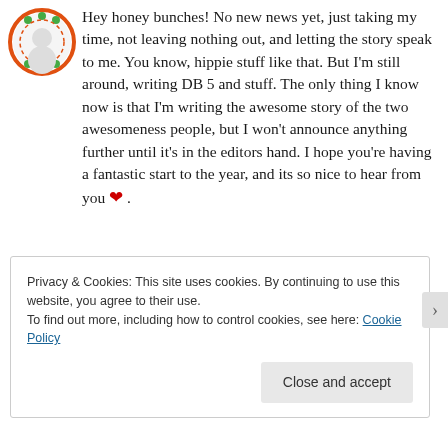[Figure (illustration): Circular avatar icon with orange/red border and green decorative pattern elements on white background]
Hey honey bunches! No new news yet, just taking my time, not leaving nothing out, and letting the story speak to me. You know, hippie stuff like that. But I'm still around, writing DB 5 and stuff. The only thing I know now is that I'm writing the awesome story of the two awesomeness people, but I won't announce anything further until it's in the editors hand. I hope you're having a fantastic start to the year, and its so nice to hear from you ❤ .
[Figure (illustration): Small partial circular avatar icon, blue tones]
Privacy & Cookies: This site uses cookies. By continuing to use this website, you agree to their use.
To find out more, including how to control cookies, see here: Cookie Policy